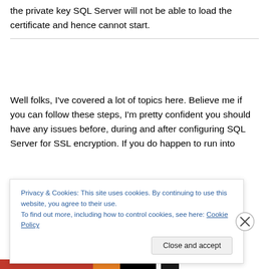the private key SQL Server will not be able to load the certificate and hence cannot start.
Well folks, I've covered a lot of topics here. Believe me if you can follow these steps, I'm pretty confident you should have any issues before, during and after configuring SQL Server for SSL encryption. If you do happen to run into
Privacy & Cookies: This site uses cookies. By continuing to use this website, you agree to their use.
To find out more, including how to control cookies, see here: Cookie Policy
Close and accept